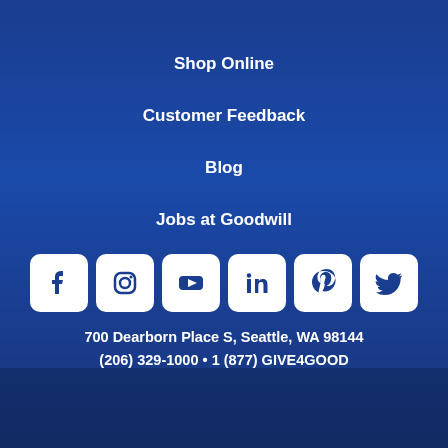Shop Online
Customer Feedback
Blog
Jobs at Goodwill
[Figure (infographic): Row of 6 social media icons (Facebook, Instagram, YouTube, LinkedIn, Pinterest, Twitter) as white rounded-square icons on dark blue background]
700 Dearborn Place S, Seattle, WA 98144
(206) 329-1000 • 1 (877) GIVE4GOOD